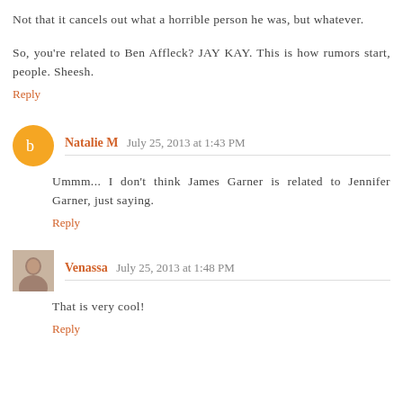Not that it cancels out what a horrible person he was, but whatever.
So, you're related to Ben Affleck? JAY KAY. This is how rumors start, people. Sheesh.
Reply
Natalie M  July 25, 2013 at 1:43 PM
Ummm... I don't think James Garner is related to Jennifer Garner, just saying.
Reply
Venassa  July 25, 2013 at 1:48 PM
That is very cool!
Reply